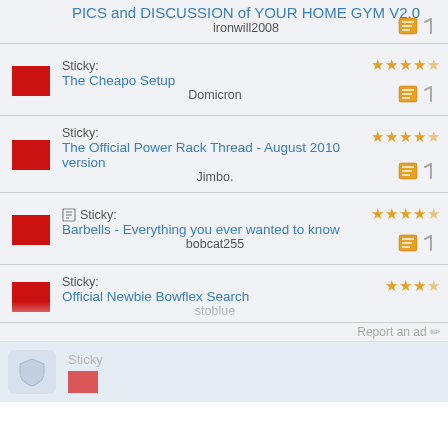PICS and DISCUSSION of YOUR HOME GYM V2.0
ironwill2008
Sticky: The Cheapo Setup
Domicron
Sticky: The Official Power Rack Thread - August 2010 version
Jimbo.
Sticky: Barbells - Everything you ever wanted to know
bobcat255
Sticky: Official Newbie Bowflex Search
stoblue
Report an ad
Sticky